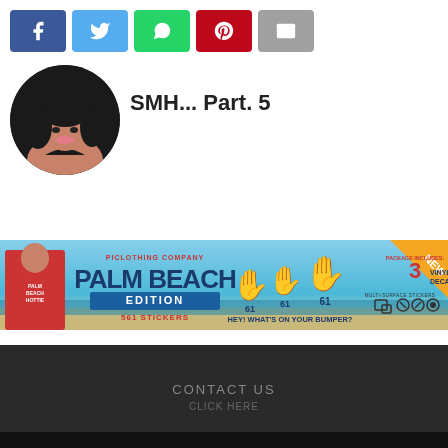[Figure (other): Social share buttons: Facebook (blue), Twitter (light blue), WhatsApp (green), Pinterest (red), Email (grey)]
[Figure (photo): Circular profile photo of a woman with dark curly hair]
SMH... Part. 5
[Figure (infographic): Palm Beach Edition advertisement banner by PI Clothing Company - 561 stickers, Hey! What's on your bumper? 3 vinyl decals, multi-surface stickers. NEW badge in orange corner.]
CONTACT US